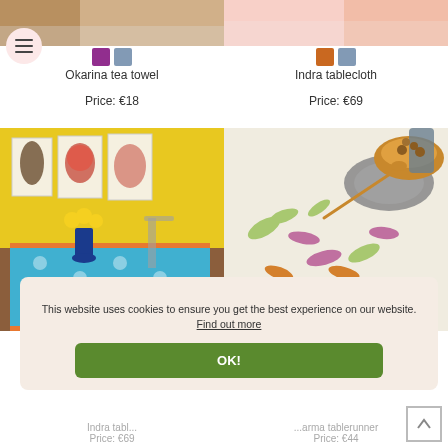[Figure (photo): Okarina tea towel product thumbnail — partially visible top of image]
[Figure (photo): Indra tablecloth product thumbnail — partially visible top of image]
Okarina tea towel
Price: €18
Indra tablecloth
Price: €69
[Figure (photo): Room scene with blue patterned tablecloth on a table with yellow walls and botanical prints, yellow flowers in a blue vase]
[Figure (photo): Close-up of a cream tablecloth with floral/leaf embroidery pattern in pink, gold and green, with a bowl and spoon on top]
This website uses cookies to ensure you get the best experience on our website. Find out more
OK!
Indra tabl...
Price: €69
...arma tablerunner
Price: €44